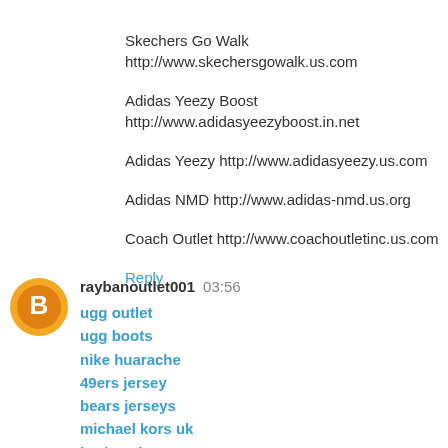Skechers Go Walk http://www.skechersgowalk.us.com
Adidas Yeezy Boost http://www.adidasyeezyboost.in.net
Adidas Yeezy http://www.adidasyeezy.us.com
Adidas NMD http://www.adidas-nmd.us.org
Coach Outlet http://www.coachoutletinc.us.com
Reply
raybanoutlet001  03:56
ugg outlet
ugg boots
nike huarache
49ers jersey
bears jerseys
michael kors uk
jordan shoes